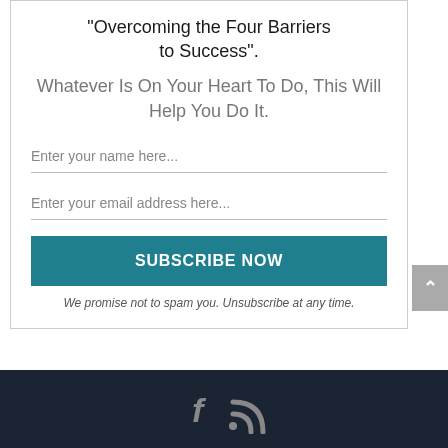"Overcoming the Four Barriers to Success".
Whatever Is On Your Heart To Do, This Will Help You Do It.
Enter your name here...
Enter your email address here...
SUBSCRIBE NOW
We promise not to spam you. Unsubscribe at any time.
[Figure (other): Social media icons: Facebook (f) and RSS feed in dark footer bar]